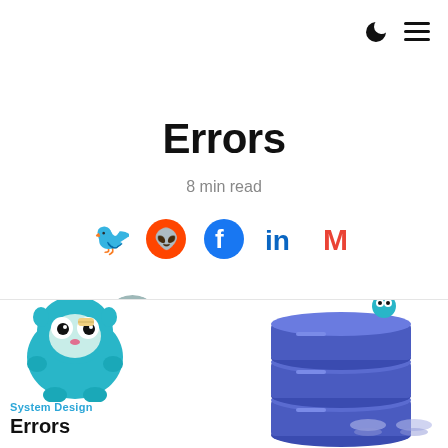moon icon and hamburger menu
Errors
8 min read
[Figure (infographic): Social share icons: Twitter (blue bird), Reddit (orange alien), Facebook (blue f), LinkedIn (blue in), Gmail (red M)]
[Figure (photo): Circular avatar photo of Karan Pratap Singh]
Karan Pratap Singh
@karan_6864
[Figure (illustration): Go gopher mascot cartoon character on bottom left card, and a blue server stack with Go gopher illustration on the right card]
System Design
Errors